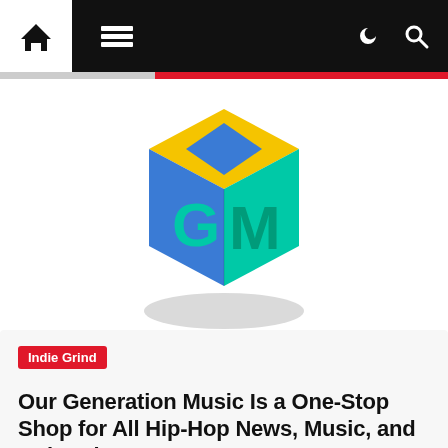Navigation bar with home icon, menu icon, dark/light toggle, and search icon
[Figure (logo): Our Generation Music 3D cube logo with yellow top, blue left face showing 'G', green right face showing 'M', with shadow underneath]
Indie Grind
Our Generation Music Is a One-Stop Shop for All Hip-Hop News, Music, and Cultural…
HHW Staff  1 year ago  Share